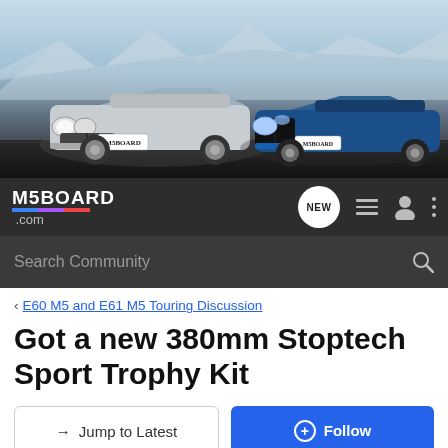[Figure (photo): M5BOARD.com banner showing two BMW M5 cars — a silver E60 M5 on the left and a blue F90 M5 on the right — on a road with snowy mountains in the background. The cars have M5BOARD license plates.]
M5BOARD .com  NEW
Search Community
< E60 M5 and E61 M5 Touring Discussion
Got a new 380mm Stoptech Sport Trophy Kit
→ Jump to Latest
+ Follow
1 - 11 of 11 Posts